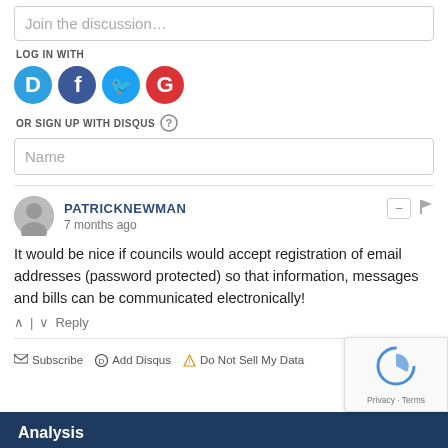Join the discussion…
LOG IN WITH
[Figure (illustration): Four social login icons: Disqus (blue circle with D), Facebook (dark blue circle with f), Twitter (light blue circle with bird), Google (red circle with G)]
OR SIGN UP WITH DISQUS ?
Name
PATRICKNEWMAN
7 months ago
It would be nice if councils would accept registration of email addresses (password protected) so that information, messages and bills can be communicated electronically!
↑ | ↓   Reply
Subscribe  Add Disqus  Do Not Sell My Data  DIS…
Analysis